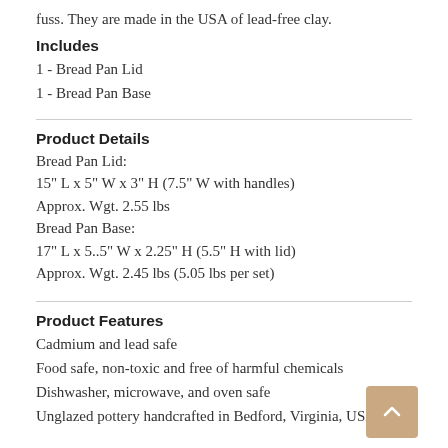fuss. They are made in the USA of lead-free clay.
Includes
1 - Bread Pan Lid
1 - Bread Pan Base
Product Details
Bread Pan Lid:
15" L x 5" W x 3" H (7.5" W with handles)
Approx. Wgt. 2.55 lbs
Bread Pan Base:
17" L x 5..5" W x 2.25" H (5.5" H with lid)
Approx. Wgt. 2.45 lbs (5.05 lbs per set)
Product Features
Cadmium and lead safe
Food safe, non-toxic and free of harmful chemicals
Dishwasher, microwave, and oven safe
Unglazed pottery handcrafted in Bedford, Virginia, USA